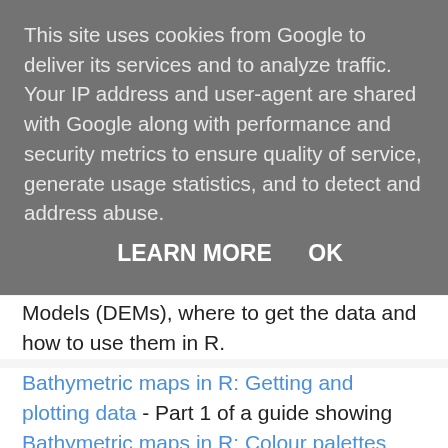This site uses cookies from Google to deliver its services and to analyze traffic. Your IP address and user-agent are shared with Google along with performance and security metrics to ensure quality of service, generate usage statistics, and to detect and address abuse.
LEARN MORE   OK
Models (DEMs), where to get the data and how to use them in R.
Bathymetric maps in R: Getting and plotting data - Part 1 of a guide showing how and where to get bathymetry data and how to import it into R.
Bathymetric maps in R: Colour palettes and